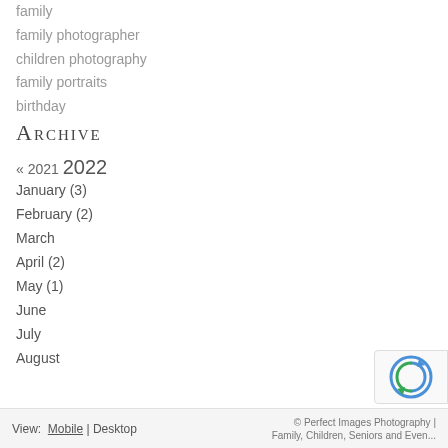family
family photographer
children photography
family portraits
birthday
Archive
« 2021  2022
January (3)
February (2)
March
April (2)
May (1)
June
July
August
View: Mobile | Desktop    © Perfect Images Photography | Family, Children, Seniors and Even...